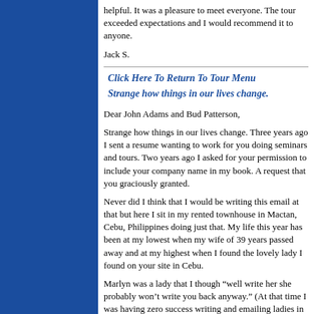helpful. It was a pleasure to meet everyone. The tour exceeded expectations and I would recommend it to anyone.
Jack S.
Click Here To Return To Tour Menu
Strange how things in our lives change.
Dear John Adams and Bud Patterson,
Strange how things in our lives change. Three years ago I sent a resume wanting to work for you doing seminars and tours. Two years ago I asked for your permission to include your company name in my book. A request that you graciously granted.
Never did I think that I would be writing this email at that but here I sit in my rented townhouse in Mactan, Cebu, Philippines doing just that. My life this year has been at my lowest when my wife of 39 years passed away and at my highest when I found the lovely lady I found on your site in Cebu.
Marlyn was a lady that I though “well write her she probably won’t write you back anyway.” (At that time I was having zero success writing and emailing ladies in China and I was thinking I wanted to steer clear of the Philippines and the girls of 18-25 who make a large percentage of the Philippines